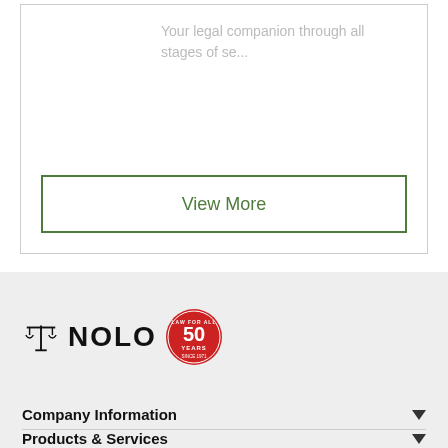Your legal companion through all stages of se...
View More
[Figure (logo): Nolo legal services logo with scales of justice icon and '50 Years' anniversary badge]
Company Information
Products & Services